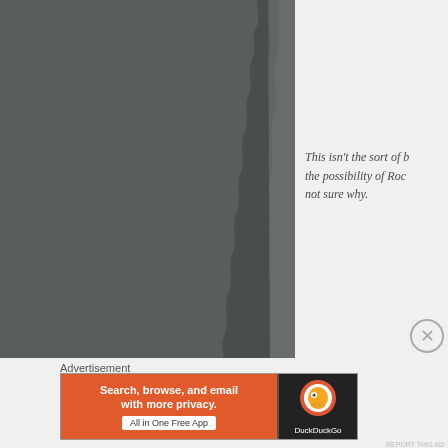[Figure (photo): Dark gray photograph with torn/rough right edge, occupying the left portion of the page]
This isn't the sort of b... the possibility of Roc... not sure why.
Advertisement
[Figure (other): DuckDuckGo advertisement banner: 'Search, browse, and email with more privacy. All in One Free App' with DuckDuckGo logo on dark right side]